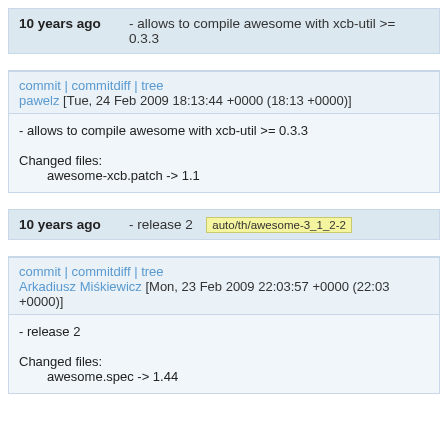10 years ago   - allows to compile awesome with xcb-util >= 0.3.3
commit | commitdiff | tree
pawelz [Tue, 24 Feb 2009 18:13:44 +0000 (18:13 +0000)]
- allows to compile awesome with xcb-util >= 0.3.3

Changed files:
    awesome-xcb.patch -> 1.1
10 years ago   - release 2   auto/th/awesome-3_1_2-2
commit | commitdiff | tree
Arkadiusz Miśkiewicz [Mon, 23 Feb 2009 22:03:57 +0000 (22:03 +0000)]
- release 2

Changed files:
    awesome.spec -> 1.44